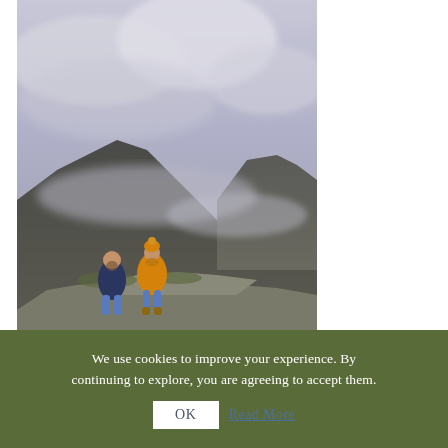[Figure (photo): Two people crouching on a rocky mountain outcrop in outdoor gear (one in navy jacket, one in bright orange/yellow jacket and orange beanie), with dramatic misty mountains and low clouds in the background.]
We use cookies to improve your experience. By continuing to explore, you are agreeing to accept them.
OK  Read More